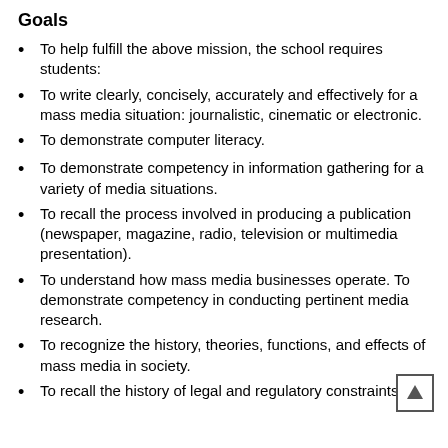Goals
To help fulfill the above mission, the school requires students:
To write clearly, concisely, accurately and effectively for a mass media situation: journalistic, cinematic or electronic.
To demonstrate computer literacy.
To demonstrate competency in information gathering for a variety of media situations.
To recall the process involved in producing a publication (newspaper, magazine, radio, television or multimedia presentation).
To understand how mass media businesses operate. To demonstrate competency in conducting pertinent media research.
To recognize the history, theories, functions, and effects of mass media in society.
To recall the history of legal and regulatory constraints